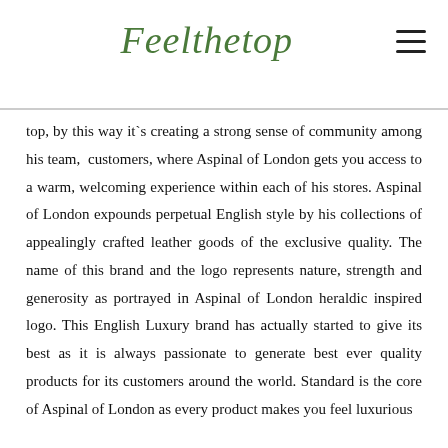[Figure (logo): Feelthetop cursive green logo with hamburger menu icon on the right]
top, by this way it`s creating a strong sense of community among his team,  customers, where Aspinal of London gets you access to a warm, welcoming experience within each of his stores. Aspinal of London expounds perpetual English style by his collections of appealingly crafted leather goods of the exclusive quality. The name of this brand and the logo represents nature, strength and generosity as portrayed in Aspinal of London heraldic inspired logo. This English Luxury brand has actually started to give its best as it is always passionate to generate best ever quality products for its customers around the world. Standard is the core of Aspinal of London as every product makes you feel luxurious